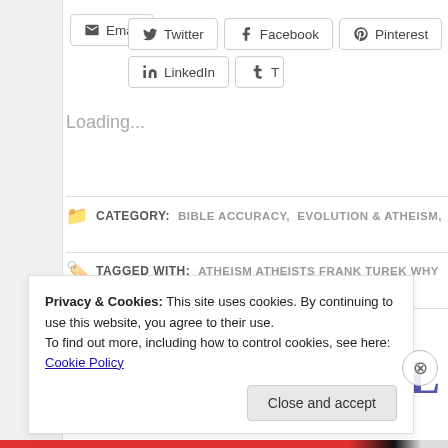[Figure (screenshot): Social sharing buttons: Twitter, Facebook, Pinterest, LinkedIn, and a partially visible Tumblr button, plus an Email button below]
Loading...
CATEGORY: BIBLE ACCURACY, EVOLUTION & ATHEISM,
TAGGED WITH: ATHEISM ATHEISTS FRANK TUREK WHY
WHEN INTELLIGENT CHRISTIANS
Privacy & Cookies: This site uses cookies. By continuing to use this website, you agree to their use. To find out more, including how to control cookies, see here: Cookie Policy
Close and accept